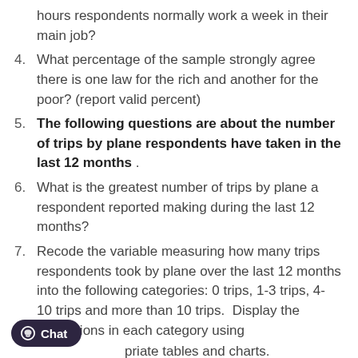hours respondents normally work a week in their main job?
4. What percentage of the sample strongly agree there is one law for the rich and another for the poor? (report valid percent)
5. The following questions are about the number of trips by plane respondents have taken in the last 12 months .
6. What is the greatest number of trips by plane a respondent reported making during the last 12 months?
7. Recode the variable measuring how many trips respondents took by plane over the last 12 months into the following categories: 0 trips, 1-3 trips, 4- 10 trips and more than 10 trips.  Display the proportions in each category using appropriate tables and charts.